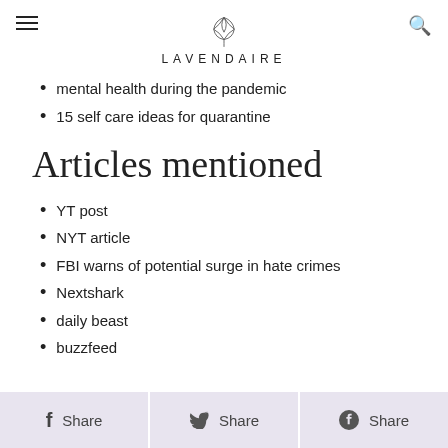LAVENDAIRE
mental health during the pandemic
15 self care ideas for quarantine
Articles mentioned
YT post
NYT article
FBI warns of potential surge in hate crimes
Nextshark
daily beast
buzzfeed
Share  Share  Share